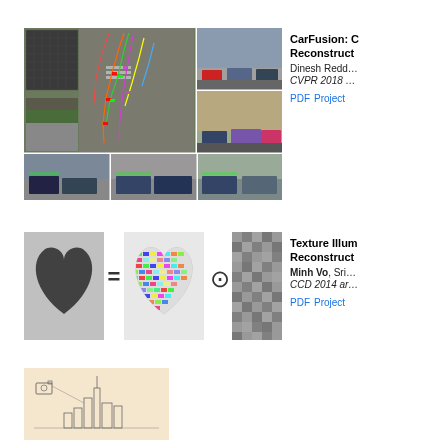[Figure (photo): CarFusion paper figure: aerial view of intersection with tracked cars (colored trajectories), plus street-level views of parked/moving cars]
CarFusion: Combining Point Tracking and Part-Based Model for Dense 3D Car Motion Reconstruction
Dinesh Reddy, Minh Vo, Srinivasa G. Narasimhan
CVPR 2018 (Spotlight)
PDF Project
[Figure (photo): Texture Illumination paper figure: heart shape made of cars = mosaic heart (dot) noise texture]
Texture Illumination Separation for Single-Image HDR Reconstruction
Minh Vo, Srinivasa G. Narasimhan, Yaser Sheikh
CCD 2014 and TPAMI 2016
PDF Project
[Figure (illustration): Third paper figure: cityscape sketch on peach background]